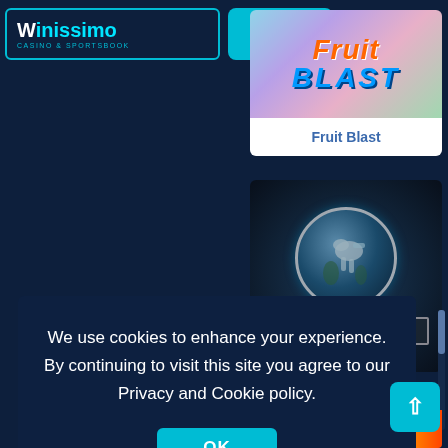[Figure (screenshot): Winissimo casino website screenshot showing logo with JOIN button in header]
Fruit Blast
[Figure (screenshot): Jurassic World slot game card with dinosaur logo and metallic title text]
We use cookies to enhance your experience. By continuing to visit this site you agree to our Privacy and Cookie policy.
OK
[Figure (screenshot): Raging Rhino slot game banner at bottom]